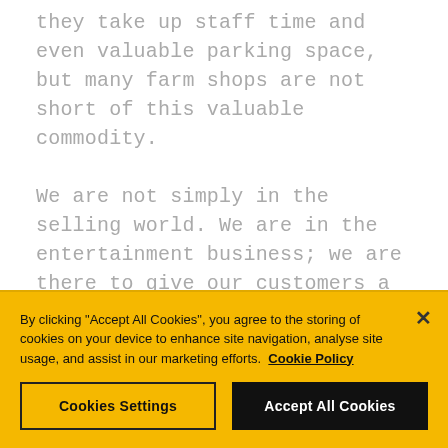they take up staff time and even valuable parking space, but many farm shops are not short of this valuable commodity.

We are not simply in the selling world. We are in the entertainment business; we are there to give our customers a good time. The single most important thing is to make people happy. If you are making people happy then, as a side effect, they will be
By clicking "Accept All Cookies", you agree to the storing of cookies on your device to enhance site navigation, analyse site usage, and assist in our marketing efforts.  Cookie Policy
Cookies Settings
Accept All Cookies